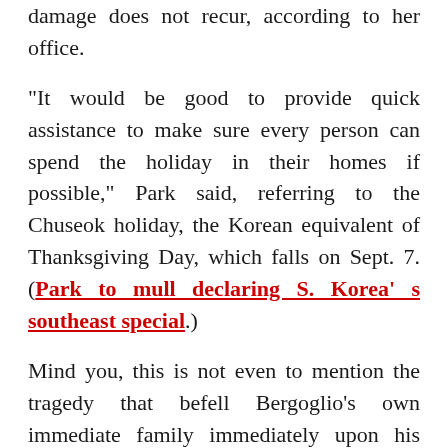damage does not recur, according to her office.
"It would be good to provide quick assistance to make sure every person can spend the holiday in their homes if possible," Park said, referring to the Chuseok holiday, the Korean equivalent of Thanksgiving Day, which falls on Sept. 7. (Park to mull declaring S. Korea's southeast special.)
Mind you, this is not even to mention the tragedy that befell Bergoglio’s own immediate family immediately upon his return from South Korea (see Bergoglio Relatives Killed in Fatal Car Crash.)
Most unfortunately, for the poor soul killed